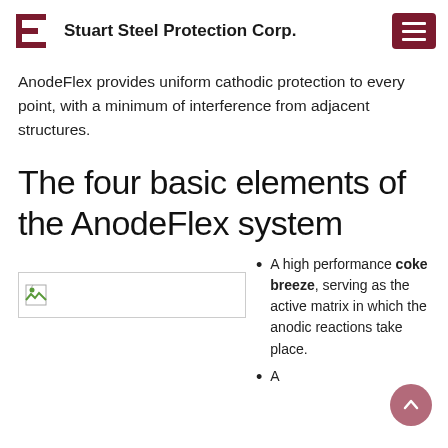Stuart Steel Protection Corp.
AnodeFlex provides uniform cathodic protection to every point, with a minimum of interference from adjacent structures.
The four basic elements of the AnodeFlex system
[Figure (photo): Image placeholder with broken image icon on the left side]
A high performance coke breeze, serving as the active matrix in which the anodic reactions take place.
A